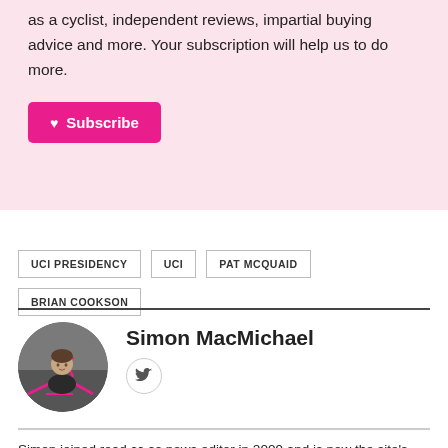as a cyclist, independent reviews, impartial buying advice and more. Your subscription will help us to do more.
♥ Subscribe
UCI PRESIDENCY  UCI  PAT MCQUAID  BRIAN COOKSON
Simon MacMichael
Simon joined road.cc as news editor in 2009 and is now the site's